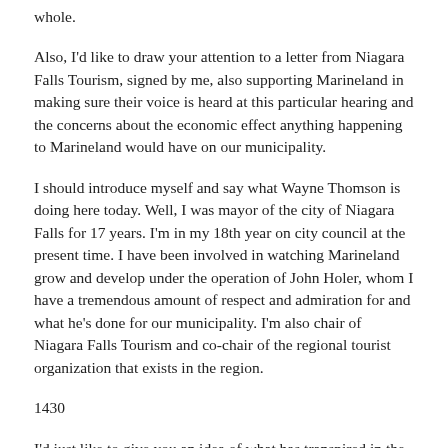whole.
Also, I'd like to draw your attention to a letter from Niagara Falls Tourism, signed by me, also supporting Marineland in making sure their voice is heard at this particular hearing and the concerns about the economic effect anything happening to Marineland would have on our municipality.
I should introduce myself and say what Wayne Thomson is doing here today. Well, I was mayor of the city of Niagara Falls for 17 years. I'm in my 18th year on city council at the present time. I have been involved in watching Marineland grow and develop under the operation of John Holer, whom I have a tremendous amount of respect and admiration for and what he's done for our municipality. I'm also chair of Niagara Falls Tourism and co-chair of the regional tourist organization that exists in the region.
1430
I'd just like to give you an idea of what has transpired in the